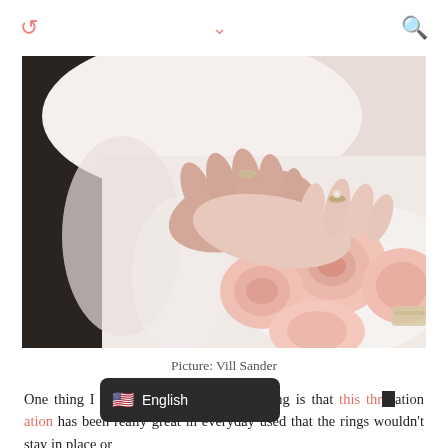⟲  ∨  🔍
[Figure (photo): Close-up photo of a couple's hands with wedding rings, resting on a pink rose bouquet. The woman wears a white dress and the man wears a dark suit.]
Picture: Vill Sander
One thing I have to mention about the ring is that this three [stone/prong] ation has been really great in everyday use [and] d that the rings wouldn't stay in place or